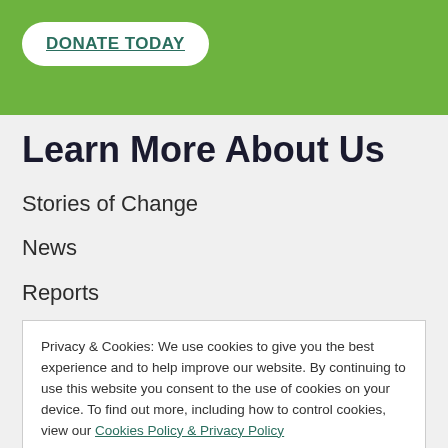DONATE TODAY
Learn More About Us
Stories of Change
News
Reports
Organisational Policies
Privacy & Cookies: We use cookies to give you the best experience and to help improve our website. By continuing to use this website you consent to the use of cookies on your device. To find out more, including how to control cookies, view our Cookies Policy & Privacy Policy
Close and accept
Fundraise